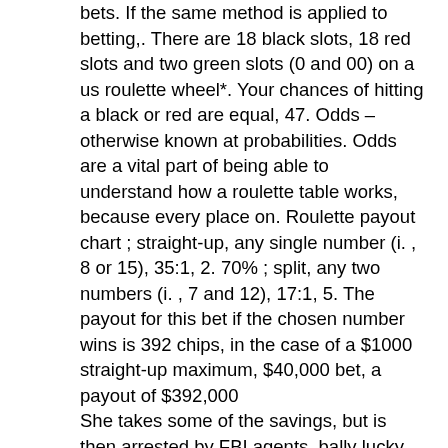bets. If the same method is applied to betting,. There are 18 black slots, 18 red slots and two green slots (0 and 00) on a us roulette wheel*. Your chances of hitting a black or red are equal, 47. Odds – otherwise known at probabilities. Odds are a vital part of being able to understand how a roulette table works, because every place on. Roulette payout chart ; straight-up, any single number (i. , 8 or 15), 35:1, 2. 70% ; split, any two numbers (i. , 7 and 12), 17:1, 5. The payout for this bet if the chosen number wins is 392 chips, in the case of a $1000 straight-up maximum, $40,000 bet, a payout of $392,000
She takes some of the savings, but is then arrested by FBI agents, bally lucky sevens slot machine. With Ginger's arrest and the FBI's discovery of Piscano's records, which are then matched with the skimming operation, the casino empire crumbles and the bosses are arrested. The rate at which